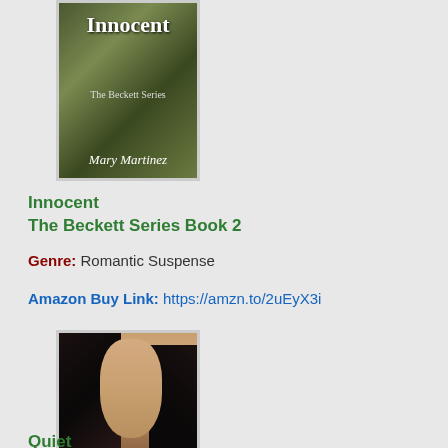[Figure (illustration): Book cover for 'Innocent' from The Beckett Series by Mary Martinez, with green/earth-tone background]
Innocent
The Beckett Series Book 2
Genre: Romantic Suspense
Amazon Buy Link: https://amzn.to/2uEyX3i
[Figure (illustration): Book cover for 'Quiet' from The Beckett Series by Mary Martinez, featuring a dark-haired woman with city skyline]
Quiet